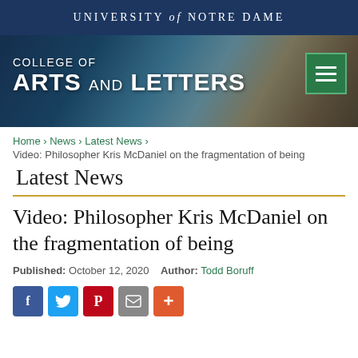UNIVERSITY of NOTRE DAME
[Figure (photo): College of Arts and Letters banner with blurred background image of building/books, hamburger menu icon in green box top right]
Home › News › Latest News ›
Video: Philosopher Kris McDaniel on the fragmentation of being
Latest News
Video: Philosopher Kris McDaniel on the fragmentation of being
Published: October 12, 2020    Author: Todd Boruff